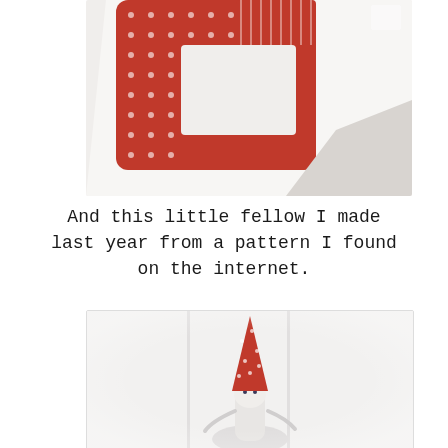[Figure (photo): Close-up photo of a red polka-dot fabric craft item (appears to be a quilted bag or block) with red and white patterned fabric pieces on a white background.]
And this little fellow I made last year from a pattern I found on the internet.
[Figure (photo): Photo of a small handmade gnome or elf figure with a tall red polka-dot pointed hat and white face/body, photographed against a light grey/white background.]